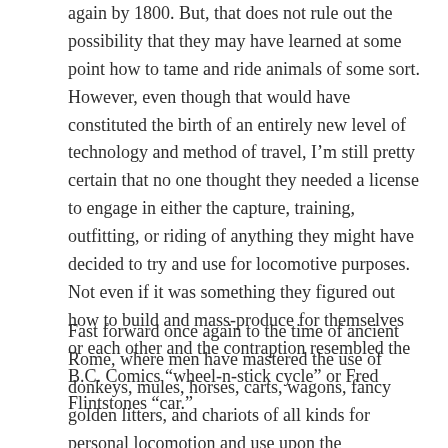again by 1800. But, that does not rule out the possibility that they may have learned at some point how to tame and ride animals of some sort. However, even though that would have constituted the birth of an entirely new level of technology and method of travel, I'm still pretty certain that no one thought they needed a license to engage in either the capture, training, outfitting, or riding of anything they might have decided to try and use for locomotive purposes. Not even if it was something they figured out how to build and mass-produce for themselves or each other and the contraption resembled the B.C. Comics “wheel-n-stick cycle” or Fred Flintstones “car.”
Fast forward once again to the time of ancient Rome, where men have mastered the use of donkeys, mules, horses, carts, wagons, fancy golden litters, and chariots of all kinds for personal locomotion and use upon the